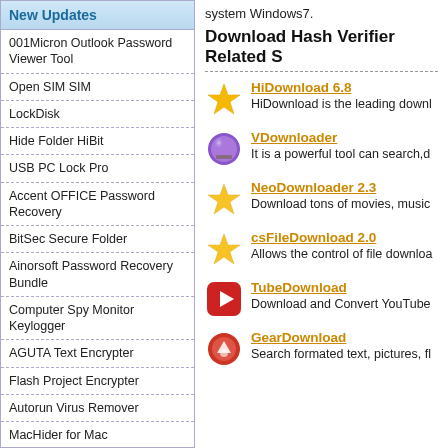New Updates
001Micron Outlook Password Viewer Tool
Open SIM SIM
LockDisk
Hide Folder HiBit
USB PC Lock Pro
Accent OFFICE Password Recovery
BitSec Secure Folder
Ainorsoft Password Recovery Bundle
Computer Spy Monitor Keylogger
AGUTA Text Encrypter
Flash Project Encrypter
Autorun Virus Remover
MacHider for Mac
REFOG Personal Monitor
ThreatSentry
Help Desk Software Sitehelpdesk
Accurate Shutdown
system Windows7.
Download Hash Verifier Related S
HiDownload 6.8 — HiDownload is the leading downl
VDownloader — It is a powerful tool can search,d
NeoDownloader 2.3 — Download tons of movies, music
csFileDownload 2.0 — Allows the control of file downloa
TubeDownload — Download and Convert YouTube
GearDownload — Search formated text, pictures, fl